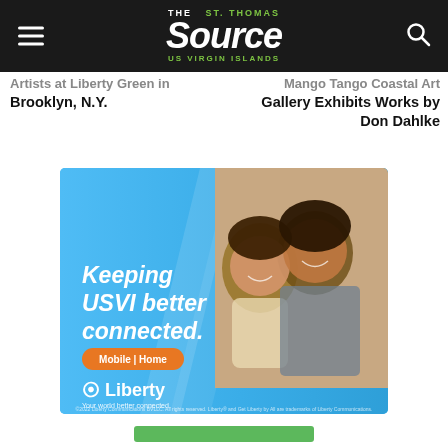The St. Thomas Source - US Virgin Islands
Artists at Liberty Green in Brooklyn, N.Y.
Mango Tango Coastal Art Gallery Exhibits Works by Don Dahlke
[Figure (photo): Liberty advertisement: woman and child laughing together with text 'Keeping USVI better connected. Mobile | Home' and Liberty logo with tagline 'Your world better connected.']